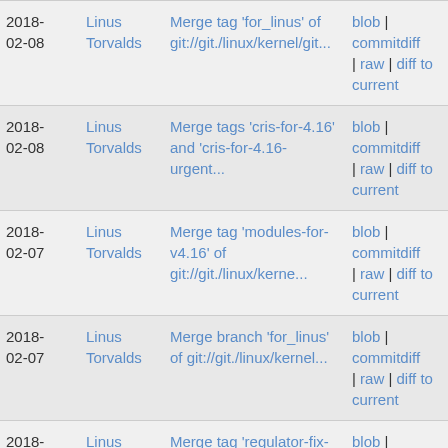| Date | Author | Commit message | Actions |
| --- | --- | --- | --- |
| 2018-02-08 | Linus Torvalds | Merge tag 'for_linus' of git://git./linux/kernel/git... | blob | commitdiff | raw | diff to current |
| 2018-02-08 | Linus Torvalds | Merge tags 'cris-for-4.16' and 'cris-for-4.16-urgent... | blob | commitdiff | raw | diff to current |
| 2018-02-07 | Linus Torvalds | Merge tag 'modules-for-v4.16' of git://git./linux/kerne... | blob | commitdiff | raw | diff to current |
| 2018-02-07 | Linus Torvalds | Merge branch 'for_linus' of git://git./linux/kernel... | blob | commitdiff | raw | diff to current |
| 2018-02-07 | Linus Torvalds | Merge tag 'regulator-fix-v4.16-suspend' of git://git... | blob | commitdiff | raw | diff to current |
| 2018-02-07 | Linus Torvalds | Merge tag 'fbdev-v4.16' of git://git./linux/kernel... | blob | commitdiff | raw | diff to current |